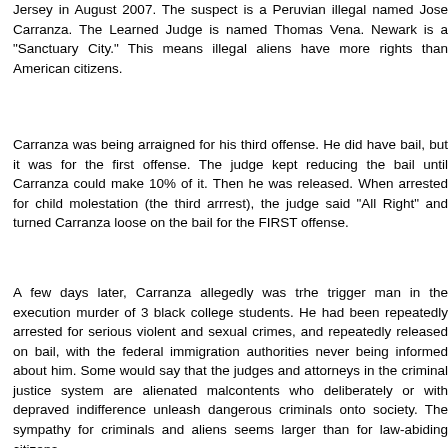Jersey in August 2007. The suspect is a Peruvian illegal named Jose Carranza. The Learned Judge is named Thomas Vena. Newark is a "Sanctuary City." This means illegal aliens have more rights than American citizens.
Carranza was being arraigned for his third offense. He did have bail, but it was for the first offense. The judge kept reducing the bail until Carranza could make 10% of it. Then he was released. When arrested for child molestation (the third arrrest), the judge said "All Right" and turned Carranza loose on the bail for the FIRST offense.
A few days later, Carranza allegedly was trhe trigger man in the execution murder of 3 black college students. He had been repeatedly arrested for serious violent and sexual crimes, and repeatedly released on bail, with the federal immigration authorities never being informed about him. Some would say that the judges and attorneys in the criminal justice system are alienated malcontents who deliberately or with depraved indifference unleash dangerous criminals onto society. The sympathy for criminals and aliens seems larger than for law-abiding citizens.